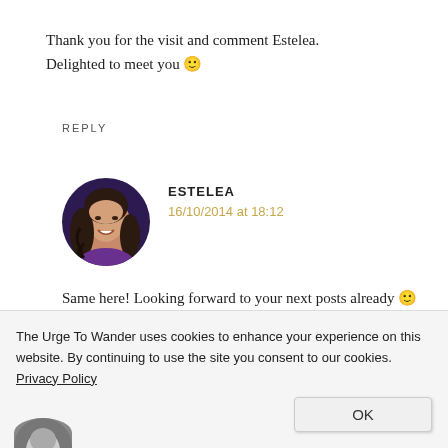Thank you for the visit and comment Estelea. Delighted to meet you 🙂
REPLY
ESTELEA
16/10/2014 at 18:12
[Figure (photo): Circular avatar photo of Estelea, a woman with dark curly hair smiling]
Same here! Looking forward to your next posts already 🙂
The Urge To Wander uses cookies to enhance your experience on this website. By continuing to use the site you consent to our cookies. Privacy Policy
OK